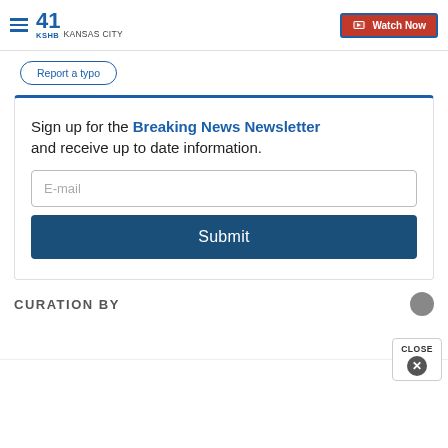41 KSHB KANSAS CITY | Watch Now
Report a typo
Sign up for the Breaking News Newsletter and receive up to date information.
E-mail
Submit
CURATION BY
CLOSE